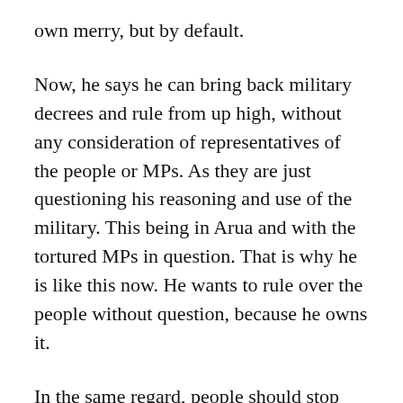own merry, but by default.
Now, he says he can bring back military decrees and rule from up high, without any consideration of representatives of the people or MPs. As they are just questioning his reasoning and use of the military. This being in Arua and with the tortured MPs in question. That is why he is like this now. He wants to rule over the people without question, because he owns it.
In the same regard, people should stop paying taxes to him. Since he eats it anyways and shouldn’t care for paying OTT, VAT or anything as long as he don’t want to represent